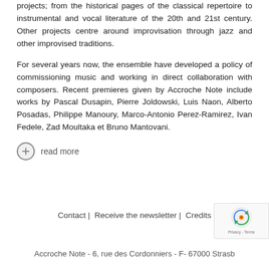projects; from the historical pages of the classical repertoire to instrumental and vocal literature of the 20th and 21st century. Other projects centre around improvisation through jazz and other improvised traditions.
For several years now, the ensemble have developed a policy of commissioning music and working in direct collaboration with composers. Recent premieres given by Accroche Note include works by Pascal Dusapin, Pierre Joldowski, Luis Naon, Alberto Posadas, Philippe Manoury, Marco-Antonio Perez-Ramirez, Ivan Fedele, Zad Moultaka et Bruno Mantovani.
read more
Contact |  Receive the newsletter |  Credits
Accroche Note - 6, rue des Cordonniers - F- 67000 Strasbg...